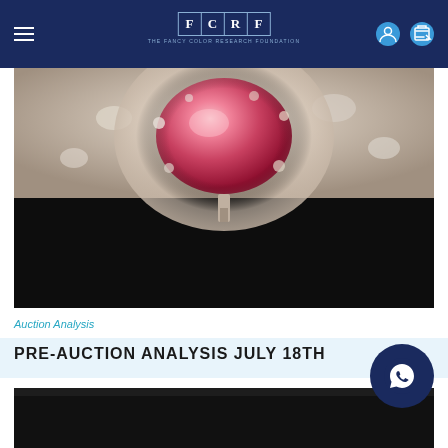FCRF — The Fancy Color Research Foundation
[Figure (photo): Close-up photo of a fancy pink diamond gem in a floral-style setting surrounded by smaller diamonds, mounted on a dark background]
Auction Analysis
PRE-AUCTION ANALYSIS JULY 18TH
[Figure (photo): Dark/black background partial photo below the title]